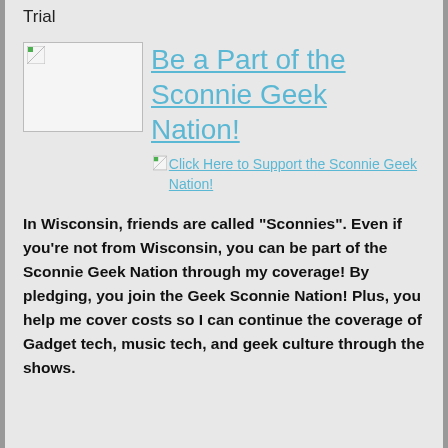Trial
[Figure (illustration): Broken image placeholder on the left side of a banner area, next to the title 'Be a Part of the Sconnie Geek Nation!']
Be a Part of the Sconnie Geek Nation!
[Figure (illustration): Broken image icon followed by alt text link: 'Click Here to Support the Sconnie Geek Nation!']
In Wisconsin, friends are called "Sconnies". Even if you're not from Wisconsin, you can be part of the Sconnie Geek Nation through my coverage! By pledging, you join the Geek Sconnie Nation! Plus, you help me cover costs so I can continue the coverage of Gadget tech, music tech, and geek culture through the shows.